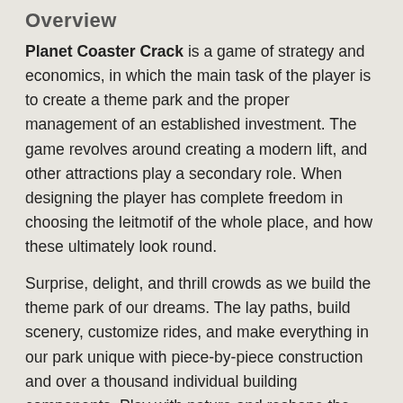Overview
Planet Coaster Crack is a game of strategy and economics, in which the main task of the player is to create a theme park and the proper management of an established investment. The game revolves around creating a modern lift, and other attractions play a secondary role. When designing the player has complete freedom in choosing the leitmotif of the whole place, and how these ultimately look round.
Surprise, delight, and thrill crowds as we build the theme park of our dreams. The lay paths, build scenery, customize rides, and make everything in our park unique with piece-by-piece construction and over a thousand individual building components. Play with nature and reshape the land beneath our feet. Sculpt the landscapes to raise mountains, form lakes, dig caverns and also build islands in the sky, then weave